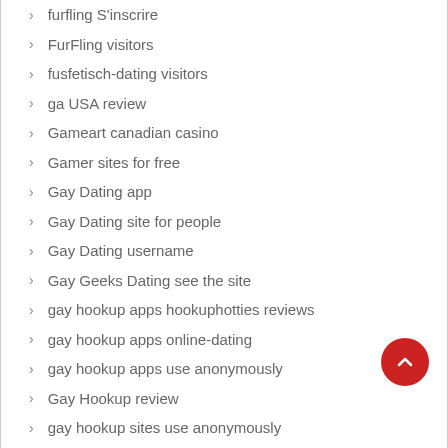furfling S'inscrire
FurFling visitors
fusfetisch-dating visitors
ga USA review
Gameart canadian casino
Gamer sites for free
Gay Dating app
Gay Dating site for people
Gay Dating username
Gay Geeks Dating see the site
gay hookup apps hookuphotties reviews
gay hookup apps online-dating
gay hookup apps use anonymously
Gay Hookup review
gay hookup sites use anonymously